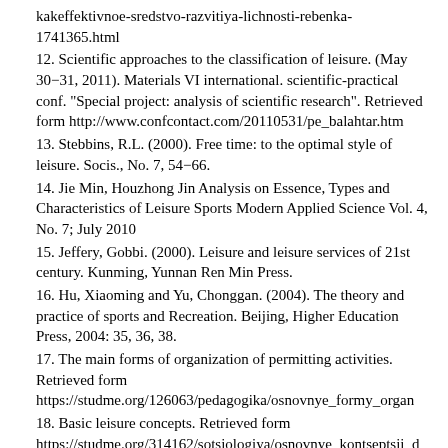kakeffektivnoe-sredstvo-razvitiya-lichnosti-rebenka-1741365.html
12. Scientific approaches to the classification of leisure. (May 30−31, 2011). Materials VI international. scientific-practical conf. "Special project: analysis of scientific research". Retrieved form http://www.confcontact.com/20110531/pe_balahtar.htm
13. Stebbins, R.L. (2000). Free time: to the optimal style of leisure. Socis., No. 7, 54−66.
14. Jie Min, Houzhong Jin Analysis on Essence, Types and Characteristics of Leisure Sports Modern Applied Science Vol. 4, No. 7; July 2010
15. Jeffery, Gobbi. (2000). Leisure and leisure services of 21st century. Kunming, Yunnan Ren Min Press.
16. Hu, Xiaoming and Yu, Chonggan. (2004). The theory and practice of sports and Recreation. Beijing, Higher Education Press, 2004: 35, 36, 38.
17. The main forms of organization of permitting activities. Retrieved form https://studme.org/126063/pedagogika/osnovnye_formy_organ
18. Basic leisure concepts. Retrieved form https://studme.org/314162/sotsiologiya/osnovnye_kontseptsii_d
19. Lu, Feng. (2008). Leisure Sports. Beijing, People's Sports Publishing House, 2008: 1, 22.